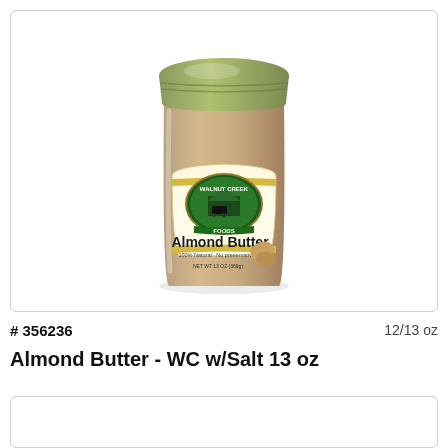[Figure (photo): A jar of Walnut Creek Foods Almond Butter, 100% Natural, No preservatives, NET WT 13 OZ (369g), with a gold/green lid and white label featuring the Walnut Creek Foods logo with a farm scene.]
# 356236
12/13 oz
Almond Butter - WC w/Salt 13 oz